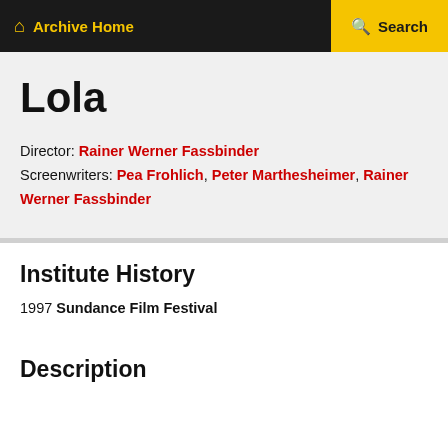Archive Home | Search
Lola
Director: Rainer Werner Fassbinder
Screenwriters: Pea Frohlich, Peter Marthesheimer, Rainer Werner Fassbinder
Institute History
1997 Sundance Film Festival
Description